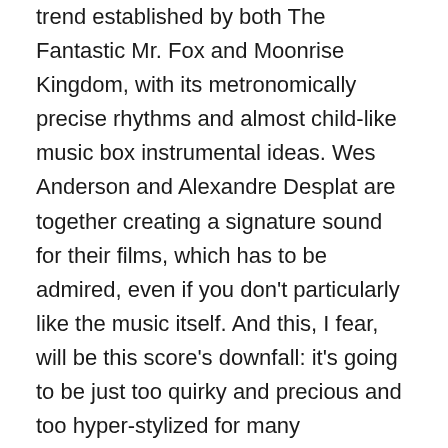trend established by both The Fantastic Mr. Fox and Moonrise Kingdom, with its metronomically precise rhythms and almost child-like music box instrumental ideas. Wes Anderson and Alexandre Desplat are together creating a signature sound for their films, which has to be admired, even if you don't particularly like the music itself. And this, I fear, will be this score's downfall: it's going to be just too quirky and precious and too hyper-stylized for many mainstream film music listeners to connect with. The Grand Budapest Hotel is a score which prances and capers through the film, every instrument plucked or struck, tiptoeing jauntily from one set piece to the next, and for some this sound is going to be unpalatable at best, downright annoying at worst. Having said that, I personally feel that it's the best Anderson/Desplat score to date, and that with this score, the already-released Monuments Men,